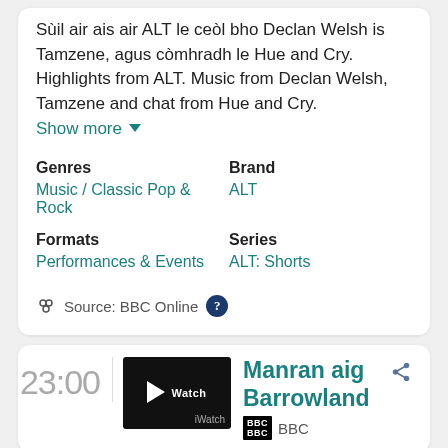Sùil air ais air ALT le ceòl bho Declan Welsh is Tamzene, agus còmhradh le Hue and Cry. Highlights from ALT. Music from Declan Welsh, Tamzene and chat from Hue and Cry. Show more
| Genres | Brand |
| --- | --- |
| Music / Classic Pop & Rock | ALT |
| Formats | Series |
| Performances & Events | ALT: Shorts |
Source: BBC Online
23:00
Manran aig Barrowland
BBC